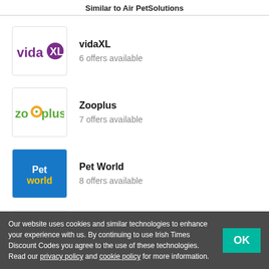Similar to Air PetSolutions
vidaXL — 6 offers available
Zooplus — 7 offers available
Pet World — 8 offers available
Wayfair — 8 offers available
Our website uses cookies and similar technologies to enhance your experience with us. By continuing to use Irish Times Discount Codes you agree to the use of these technologies. Read our privacy policy and cookie policy for more information.